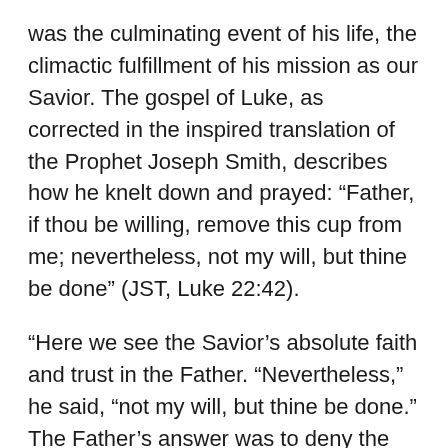was the culminating event of his life, the climactic fulfillment of his mission as our Savior. The gospel of Luke, as corrected in the inspired translation of the Prophet Joseph Smith, describes how he knelt down and prayed: “Father, if thou be willing, remove this cup from me; nevertheless, not my will, but thine be done” (JST, Luke 22:42).
“Here we see the Savior’s absolute faith and trust in the Father. “Nevertheless,” he said, “not my will, but thine be done.” The Father’s answer was to deny the plea of his Only Begotten Son. The Atonement had to be worked out by that lamb without blemish. But though the Son’s request was denied, his prayer was answered. The scripture records: